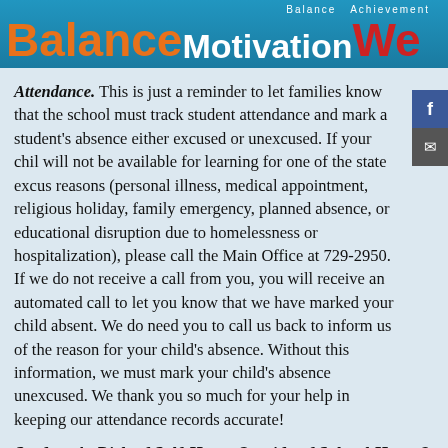[Figure (illustration): School newsletter banner with 'Balance Motivation We' text in orange, white, and red on a blue background. Small 'Balance Achievement' text visible at top right.]
Attendance. This is just a reminder to let families know that the school must track student attendance and mark a student's absence either excused or unexcused. If your child will not be available for learning for one of the state excused reasons (personal illness, medical appointment, religious holiday, family emergency, planned absence, or educational disruption due to homelessness or hospitalization), please call the Main Office at 729-2950. If we do not receive a call from you, you will receive an automated call to let you know that we have marked your child absent. We do need you to call us back to inform us of the reason for your child's absence. Without this information, we must mark your child's absence unexcused. We thank you so much for your help in keeping our attendance records accurate!
Student At Risk of Self-Harm Outside of School Hours?
If you and/or your child become aware of a student that may be at risk of self-harm when school is not